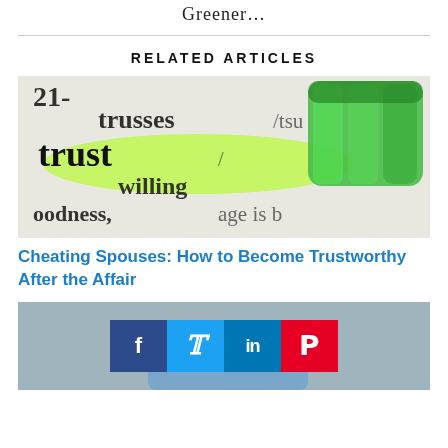Greener…
RELATED ARTICLES
[Figure (photo): Close-up of a dictionary page showing the word 'trust' highlighted in green with a green highlighter marker resting on the page. Other words visible include 'trusses', 'willing', 'goodness', 'age is b'.]
Cheating Spouses: How to Become Trustworthy After the Affair
[Figure (photo): Person in blue shirt holding something, with social media sharing buttons overlay showing Facebook, Twitter, LinkedIn, and Pinterest icons.]